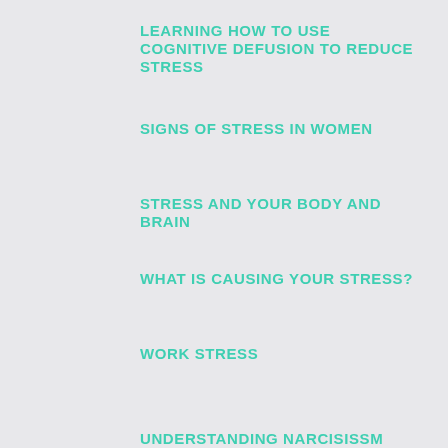LEARNING HOW TO USE COGNITIVE DEFUSION TO REDUCE STRESS
SIGNS OF STRESS IN WOMEN
STRESS AND YOUR BODY AND BRAIN
WHAT IS CAUSING YOUR STRESS?
WORK STRESS
UNDERSTANDING NARCISISSM
Subscribe to my newsletter for women with  adhd and anxiety below!